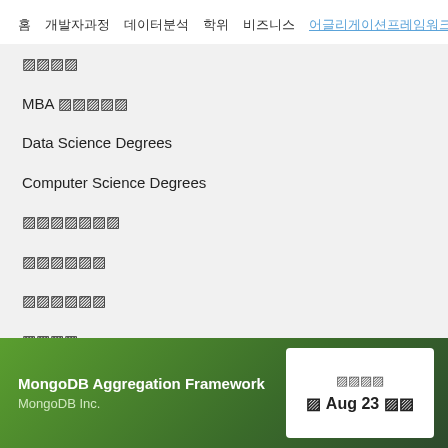홈 · 개발자과정 · 데이터분석 · 학위 · 비즈니스 · 어글리게이션프레임워크
학위과정
MBA 학위과정
Data Science Degrees
Computer Science Degrees
데이터분석
개발자과정
비즈니스
기술
퍼스널리티
언어
기타
MongoDB Aggregation Framework
MongoDB Inc.
□□□□  □ Aug 23 □□